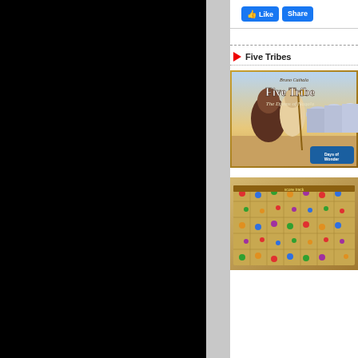[Figure (screenshot): Facebook Like and Share buttons]
Five Tribes
[Figure (photo): Five Tribes board game box cover art — Bruno Cathala, Five Tribes: The Djinns of Naqala, Days of Wonder]
[Figure (photo): Five Tribes board game in play — overhead photo of colorful game board with meeples]